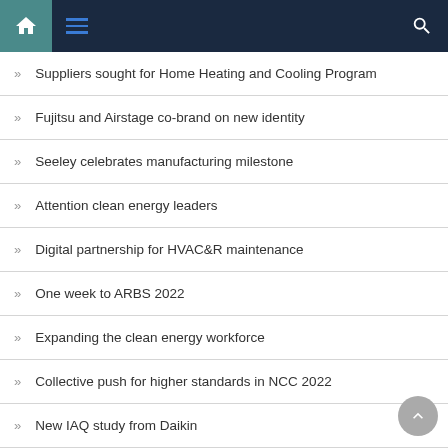Navigation header with home, menu, and search icons
Suppliers sought for Home Heating and Cooling Program
Fujitsu and Airstage co-brand on new identity
Seeley celebrates manufacturing milestone
Attention clean energy leaders
Digital partnership for HVAC&R maintenance
One week to ARBS 2022
Expanding the clean energy workforce
Collective push for higher standards in NCC 2022
New IAQ study from Daikin